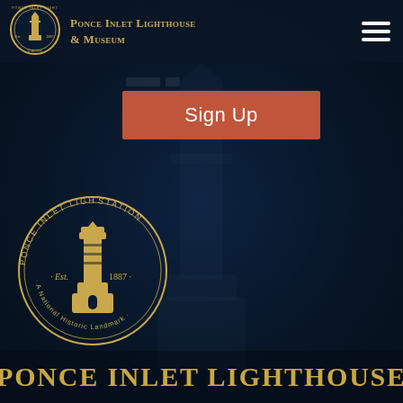[Figure (logo): Ponce Inlet Light Station circular seal logo, small, in header]
Ponce Inlet Lighthouse & Museum
[Figure (other): Hamburger menu icon (three white horizontal lines) in top right corner]
[Figure (screenshot): Sign Up button - terracotta/rust colored rectangular button with white text]
[Figure (logo): Large Ponce Inlet Light Station circular seal - Est. 1887 - A National Historic Landmark, gold on dark background]
Ponce Inlet Lighthouse